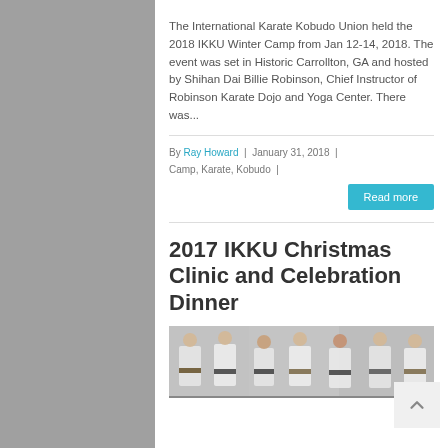The International Karate Kobudo Union held the 2018 IKKU Winter Camp from Jan 12-14, 2018. The event was set in Historic Carrollton, GA and hosted by Shihan Dai Billie Robinson, Chief Instructor of Robinson Karate Dojo and Yoga Center. There was...
By Ray Howard  |  January 31, 2018  |  Camp, Karate, Kobudo  |
Read more
2017 IKKU Christmas Clinic and Celebration Dinner
[Figure (photo): Photo of karate practitioners in white gi uniforms training in a martial arts class setting.]